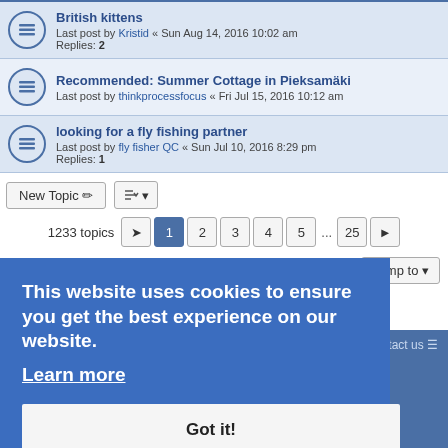British kittens — Last post by Kristid « Sun Aug 14, 2016 10:02 am — Replies: 2
Recommended: Summer Cottage in Pieksamäki — Last post by thinkprocessfocus « Fri Jul 15, 2016 10:12 am
looking for a fly fishing partner — Last post by fly fisher QC « Sun Jul 10, 2016 8:29 pm — Replies: 1
New Topic  |  1233 topics  1 2 3 4 5 ... 25 ▶  Jump to
This website uses cookies to ensure you get the best experience on our website. Learn more
Got it!
Home › Board index  |  Contact us  |  Powered by phpBB® Forum Software © phpBB Limited  |  Privacy | Terms